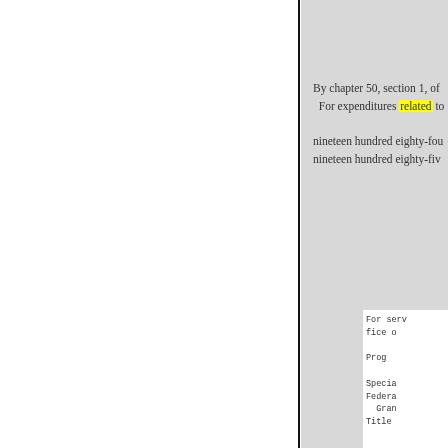By chapter 50, section 1, of...
For expenditures related to...
nineteen hundred eighty-fou...
nineteen hundred eighty-fiv...
For serv... fice o...
Prog...
Specia... Federa... Gran... Title...
By chapter 50, section 1, of...
For expenditures related to...
nineteen hundred eighty-...